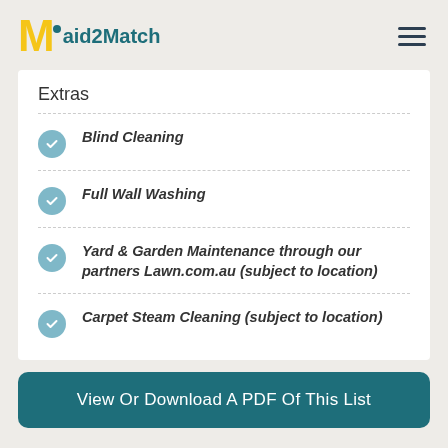Maid2Match
Extras
Blind Cleaning
Full Wall Washing
Yard & Garden Maintenance through our partners Lawn.com.au (subject to location)
Carpet Steam Cleaning (subject to location)
View Or Download A PDF Of This List